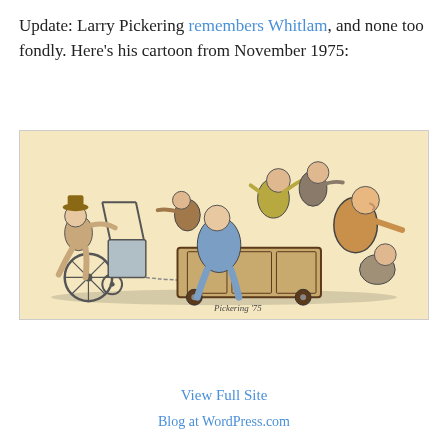Update: Larry Pickering remembers Whitlam, and none too fondly. Here's his cartoon from November 1975:
[Figure (illustration): Larry Pickering political cartoon from November 1975 showing caricatured figures chaotically piled on and around a wheeled cart or wagon, with exaggerated expressions and poses, signed by Pickering. Set against a pale yellow-cream background.]
View Full Site
Blog at WordPress.com